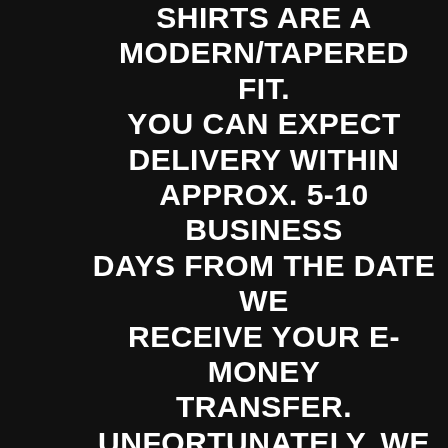SHIRTS ARE A MODERN/TAPERED FIT. YOU CAN EXPECT DELIVERY WITHIN APPROX. 5-10 BUSINESS DAYS FROM THE DATE WE RECEIVE YOUR E-MONEY TRANSFER. UNFORTUNATELY, WE CANNOT OFFER REFUNDS OR EXCHANGES ONCE WE RECEIVE YOUR E-MONEY TRANSFER.